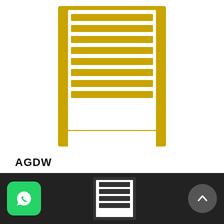[Figure (illustration): Yellow-bordered product icon resembling a radiator or louvered panel with horizontal white stripes inside a thick yellow rectangular frame]
AGDW
₹71.00
Lorem ipsum dolor sit amet, consectetur adipisicing elit, sed do eiusmod tempor incididunt ut labore et dolore magna aliqua. Ut enim ad minim veniam, quis nostrud exercitation...
[Figure (screenshot): Dark footer bar with WhatsApp icon (green), a mini product image in center, and a scroll-to-top arrow button on the right]